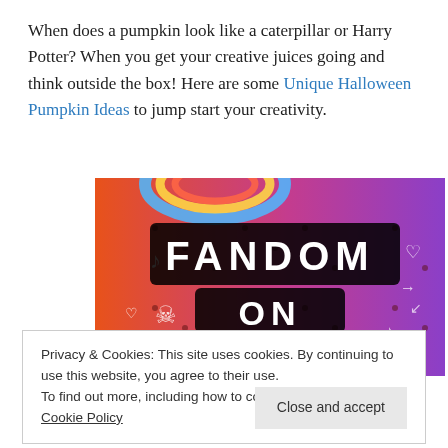When does a pumpkin look like a caterpillar or Harry Potter? When you get your creative juices going and think outside the box! Here are some Unique Halloween Pumpkin Ideas to jump start your creativity.
[Figure (screenshot): Tumblr 'Fandom on Tumblr' promotional banner with colorful orange-to-purple gradient background and white doodles]
Privacy & Cookies: This site uses cookies. By continuing to use this website, you agree to their use.
To find out more, including how to control cookies, see here: Cookie Policy
#2 P...b... S...t...